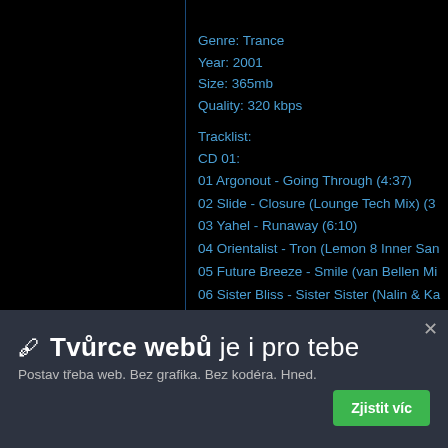Genre: Trance
Year: 2001
Size: 365mb
Quality: 320 kbps
Tracklist:
CD 01:
01 Argonout - Going Through (4:37)
02 Slide - Closure (Lounge Tech Mix) (3…
03 Yahel - Runaway (6:10)
04 Orientalist - Tron (Lemon 8 Inner Sa…
05 Future Breeze - Smile (van Bellen Mi…
06 Sister Bliss - Sister Sister (Nalin & Ka…
07 Three Drives - Sunset On Ibiza (5:55)
08 Starecase - Not So Blue (5:13)
09 James Holden - Horizons (Way Out W…
✏ Tvůrce webů je i pro tebe
Postav třeba web. Bez grafika. Bez kodéra. Hned.
Zjistit víc